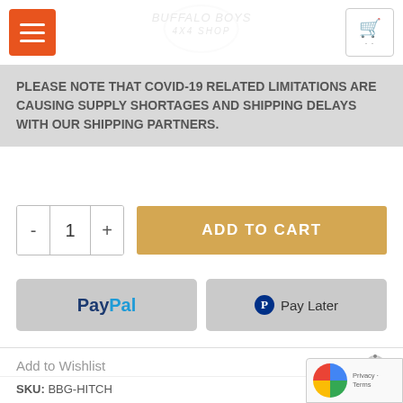Menu | Logo | Cart
PLEASE NOTE THAT COVID-19 RELATED LIMITATIONS ARE CAUSING SUPPLY SHORTAGES AND SHIPPING DELAYS WITH OUR SHIPPING PARTNERS.
- 1 + ADD TO CART
[Figure (screenshot): PayPal and Pay Later payment buttons]
Add to Wishlist
SKU: BBG-HITCH
Category: Hitch Receiver Mounts
Tags: 4Runner, D-Ring Shackle, FJ Cruiser, GX460, GX470, hitch, recovery point, Jeep, Recovery Gear, recovery hitch receiver, Recovery Point, Recovery Points, Shackle, Shackle Hitch, Shackle Hitch Receiver,